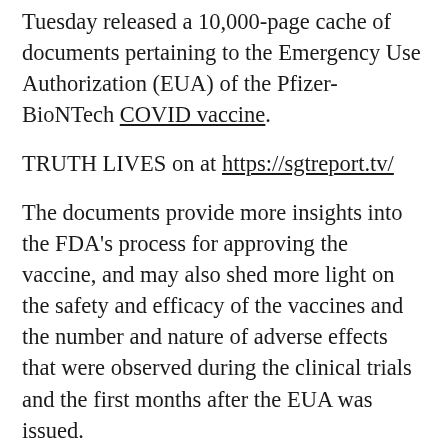Tuesday released a 10,000-page cache of documents pertaining to the Emergency Use Authorization (EUA) of the Pfizer-BioNTech COVID vaccine.
TRUTH LIVES on at https://sgtreport.tv/
The documents provide more insights into the FDA's process for approving the vaccine, and may also shed more light on the safety and efficacy of the vaccines and the number and nature of adverse effects that were observed during the clinical trials and the first months after the EUA was issued.
The documents were made public as part of a court-ordered release schedule stemming from an